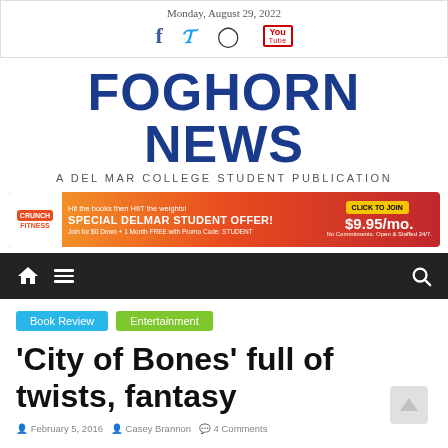Monday, August 29, 2022
FOGHORN NEWS
A DEL MAR COLLEGE STUDENT PUBLICATION
[Figure (infographic): Crunch Fitness advertisement banner: orange-red gradient background with Crunch Fitness logo, text 'Hit the books then HIIT the weights! SPECIAL DELMAR STUDENT OFFER! Join for $0 Down + 1 Month FREE with Promo Code: STUDENT', yellow 'CLICK TO JOIN' button, price '$9.95/mo.']
[Figure (infographic): Dark navigation bar with home icon, hamburger menu icon on the left, and search icon on the right]
Book Review  Entertainment
'City of Bones' full of twists, fantasy
February 5, 2016  Casey Brannon  4 Comments